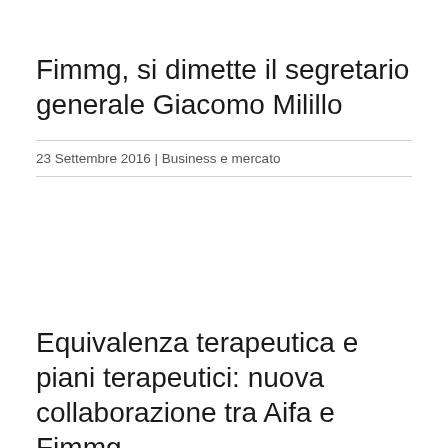Fimmg, si dimette il segretario generale Giacomo Milillo
23 Settembre 2016 | Business e mercato
Equivalenza terapeutica e piani terapeutici: nuova collaborazione tra Aifa e Fimmg